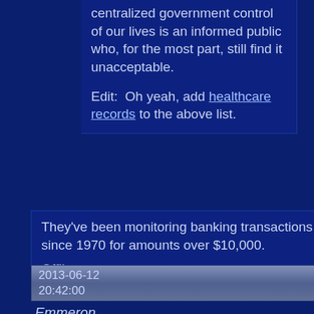centralized government control of our lives is an informed public who, for the most part, still find it unacceptable.
Edit:  Oh yeah, add healthcare records to the above list.
They've been monitoring banking transactions since 1970 for amounts over $10,000.
Offline
2013-06-12 20:42:00   #61
Emmeron